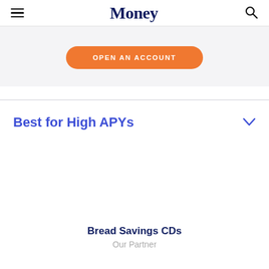Money
OPEN AN ACCOUNT
Best for High APYs
Bread Savings CDs
Our Partner